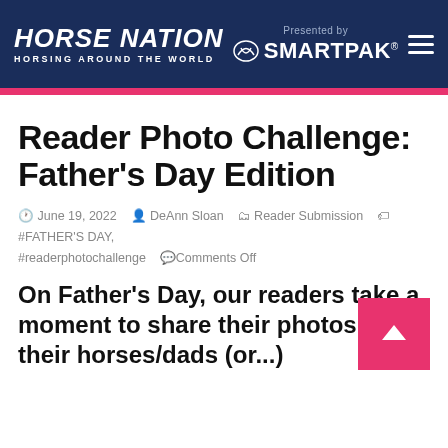HORSE NATION — HORSING AROUND THE WORLD | Presented by SMARTPAK
Reader Photo Challenge: Father's Day Edition
June 19, 2022  DeAnn Sloan  Reader Submission  #FATHER'S DAY, #readerphotochallenge  Comments Off
On Father's Day, our readers take a moment to share their photos of their horses/dads (or...)